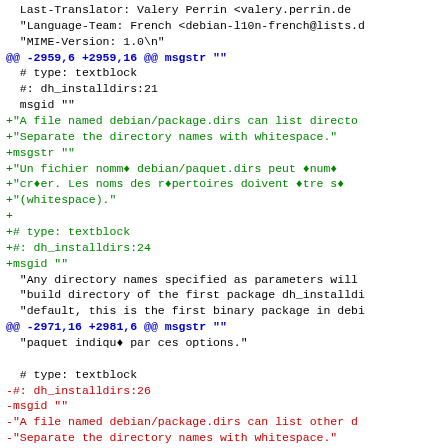Diff/patch code showing translations for debian package installer, with context lines, added lines (green), removed lines (red), and hunk headers (blue).